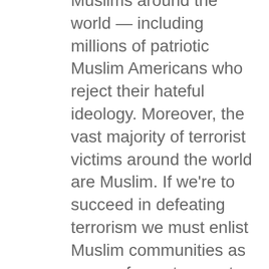Muslims around the world — including millions of patriotic Muslim Americans who reject their hateful ideology. Moreover, the vast majority of terrorist victims around the world are Muslim. If we're to succeed in defeating terrorism we must enlist Muslim communities as some of our strongest allies, rather than push them away through suspicion and hate.
That does not mean denying the fact that an extremist ideology has spread within some Muslim communities. This is a real problem that Muslims must confront, without excuse. Muslim leaders here and around the globe have to continue working with us to decisively and unequivocally reject the hateful ideology that groups like ISIL and al Qaeda promote; to speak out against not just acts of violence, but also those interpretations of Islam that are incompatible with the values of religious tolerance, mutual respect, and human dignity.
But just as it is the responsibility of Muslims